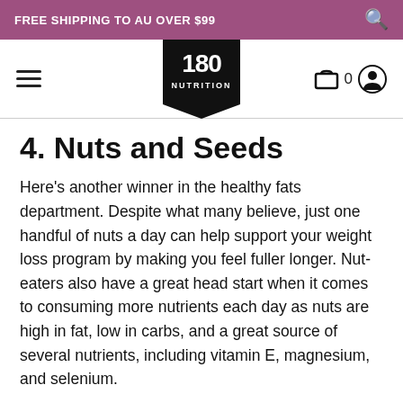FREE SHIPPING TO AU OVER $99
[Figure (logo): 180 Nutrition logo — black pennant/badge shape with '180' in large bold text and 'NUTRITION' below in small caps]
4. Nuts and Seeds
Here's another winner in the healthy fats department. Despite what many believe, just one handful of nuts a day can help support your weight loss program by making you feel fuller longer. Nut-eaters also have a great head start when it comes to consuming more nutrients each day as nuts are high in fat, low in carbs, and a great source of several nutrients, including vitamin E, magnesium, and selenium.
Another easy way to consume nuts and seeds is to add to your favourite smoothie recipe.